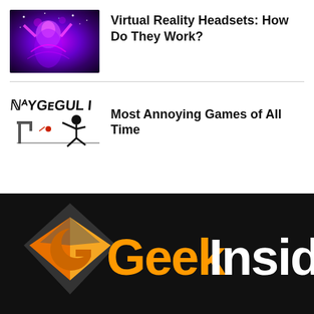[Figure (photo): Person in neon/UV light with VR or dance scene, purple and pink tones]
Virtual Reality Headsets: How Do They Work?
[Figure (illustration): Annoying game screenshot with distorted text and stick figure being hit]
Most Annoying Games of All Time
[Figure (logo): Geek Insider logo with orange diamond G icon and text 'Geek Insider' on black background]